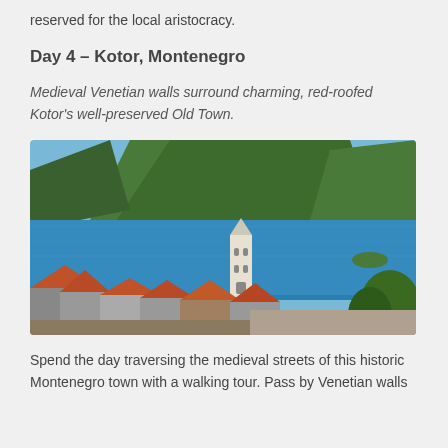reserved for the local aristocracy.
Day 4 – Kotor, Montenegro
Medieval Venetian walls surround charming, red-roofed Kotor's well-preserved Old Town.
[Figure (photo): Aerial view of Kotor, Montenegro showing red-roofed buildings, a church bell tower, the Bay of Kotor with blue water, and green mountain in the background.]
Spend the day traversing the medieval streets of this historic Montenegro town with a walking tour. Pass by Venetian walls